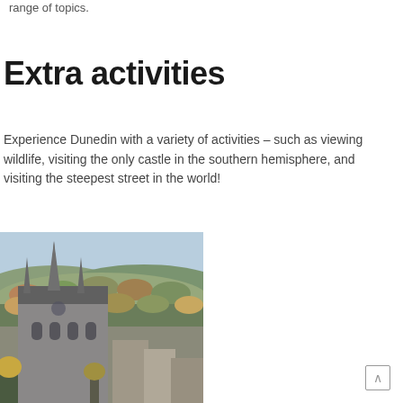range of topics.
Extra activities
Experience Dunedin with a variety of activities – such as viewing wildlife, visiting the only castle in the southern hemisphere, and visiting the steepest street in the world!
[Figure (photo): Aerial view of Dunedin city showing a Gothic-style cathedral/church in the foreground with hills and autumn trees in the background under a pale blue sky.]